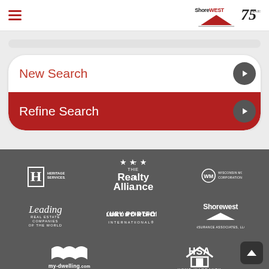Shorewest Realty – 75 Years
New Search
Refine Search
[Figure (logo): Heritage Title Services, Inc. logo – white H in bordered square]
[Figure (logo): The Realty Alliance logo – white stars above bold Realty Alliance text]
[Figure (logo): Wisconsin Mortgage Corporation WM logo]
[Figure (logo): Leading Real Estate Companies of the World logo – script Leading text]
[Figure (logo): Luxury Portfolio International logo]
[Figure (logo): Shorewest Insurance Associates, LLC logo]
[Figure (logo): my-dwelling.com Metro Milwaukee logo]
[Figure (logo): HSA Home Warranty – Because Service Matters logo]